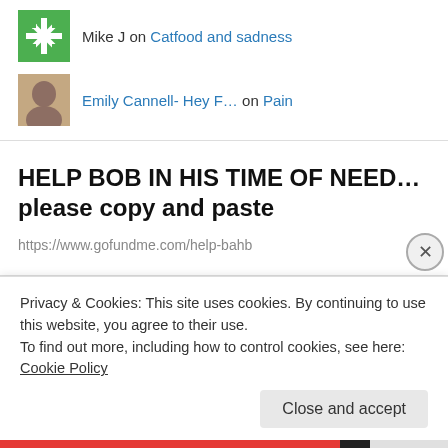Mike J on Catfood and sadness
Emily Cannell- Hey F… on Pain
HELP BOB IN HIS TIME OF NEED…please copy and paste
https://www.gofundme.com/help-bahb
Privacy & Cookies: This site uses cookies. By continuing to use this website, you agree to their use.
To find out more, including how to control cookies, see here: Cookie Policy
Close and accept